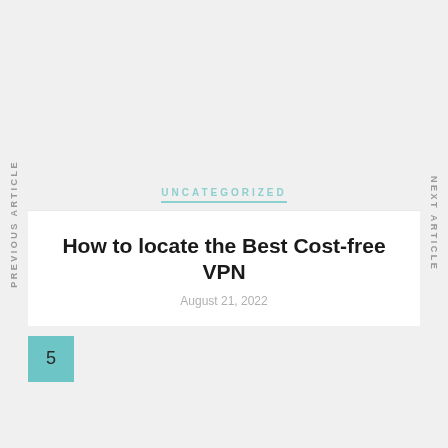UNCATEGORIZED
How to locate the Best Cost-free VPN
August 21, 2022
5
UNCATEGORIZED
PREVIOUS ARTICLE
NEXT ARTICLE